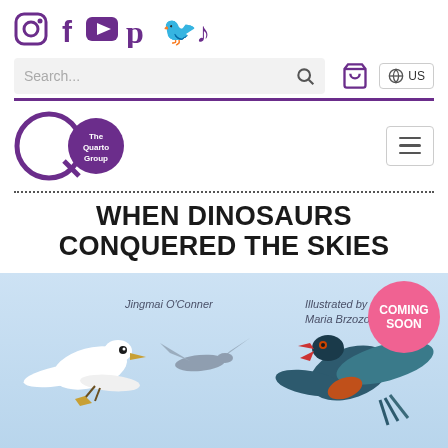[Figure (screenshot): Social media icons row: Instagram, Facebook, YouTube, Pinterest, Twitter, TikTok in purple]
[Figure (screenshot): Search bar with magnifying glass icon, shopping cart icon, and US locale button]
[Figure (logo): The Quarto Group logo — large Q with purple circle containing 'The Quarto Group' text]
WHEN DINOSAURS CONQUERED THE SKIES
[Figure (illustration): Book cover illustration showing prehistoric birds/dinosaurs in flight against a light blue sky. Author: Jingmai O'Conner, Illustrated by Maria Brzozowska. 'Coming Soon' pink badge in top right.]